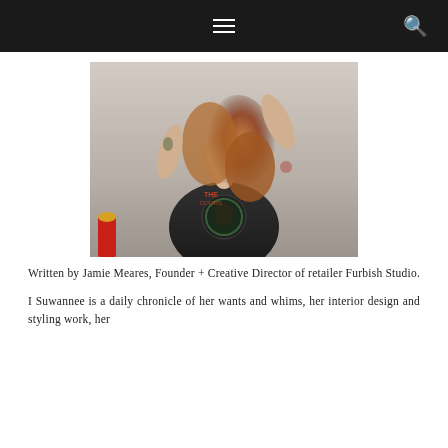Navigation bar with menu and search icons
[Figure (photo): Young woman with long auburn hair wearing a vintage The Doors band t-shirt, posing with arms raised against a white brick wall, with tattoos visible on arms; a red object is visible in the lower left corner]
Written by Jamie Meares, Founder + Creative Director of retailer Furbish Studio.
I Suwannee is a daily chronicle of her wants and whims, her interior design and styling work, her